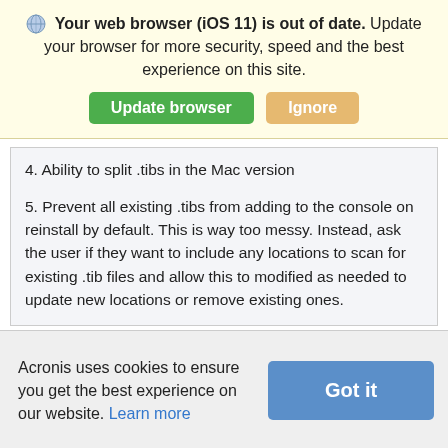Your web browser (iOS 11) is out of date. Update your browser for more security, speed and the best experience on this site.
Update browser | Ignore
4. Ability to split .tibs in the Mac version
5. Prevent all existing .tibs from adding to the console on reinstall by default. This is way too messy. Instead, ask the user if they want to include any locations to scan for existing .tib files and allow this to modified as needed to update new locations or remove existing ones.
Hello everyone. Interesting thread, thanks for the
Acronis uses cookies to ensure you get the best experience on our website. Learn more
Got it